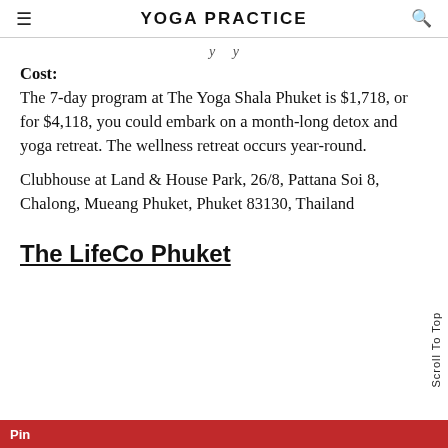YOGA PRACTICE
y y
Cost:
The 7-day program at The Yoga Shala Phuket is $1,718, or for $4,118, you could embark on a month-long detox and yoga retreat. The wellness retreat occurs year-round.
Clubhouse at Land & House Park, 26/8, Pattana Soi 8, Chalong, Mueang Phuket, Phuket 83130, Thailand
The LifeCo Phuket
Scroll To Top
Pin